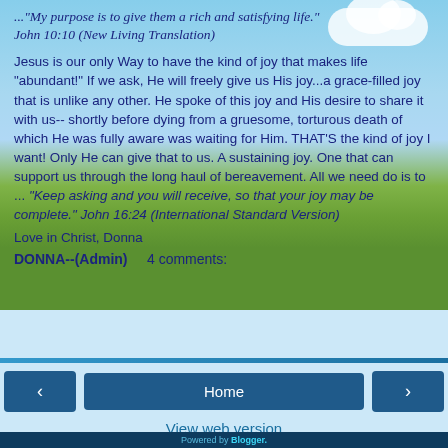..."My purpose is to give them a rich and satisfying life." John 10:10 (New Living Translation)
Jesus is our only Way to have the kind of joy that makes life "abundant!" If we ask, He will freely give us His joy...a grace-filled joy that is unlike any other. He spoke of this joy and His desire to share it with us-- shortly before dying from a gruesome, torturous death of which He was fully aware was waiting for Him. THAT'S the kind of joy I want! Only He can give that to us. A sustaining joy. One that can support us through the long haul of bereavement. All we need do is to ... "Keep asking and you will receive, so that your joy may be complete." John 16:24 (International Standard Version)
Love in Christ, Donna
DONNA--(Admin)    4 comments:
Home
View web version
Powered by Blogger.